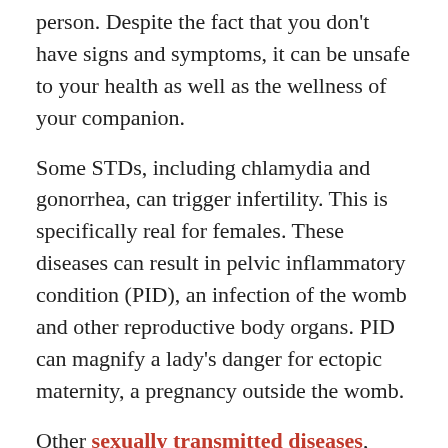person. Despite the fact that you don't have signs and symptoms, it can be unsafe to your health as well as the wellness of your companion.
Some STDs, including chlamydia and gonorrhea, can trigger infertility. This is specifically real for females. These diseases can result in pelvic inflammatory condition (PID), an infection of the womb and other reproductive body organs. PID can magnify a lady's danger for ectopic maternity, a pregnancy outside the womb.
Other sexually transmitted diseases, such as syphilis and also HIV, can be dangerous. Left untreated for many years, syphilis can also seriously damage your mind, nerves, and also heart.